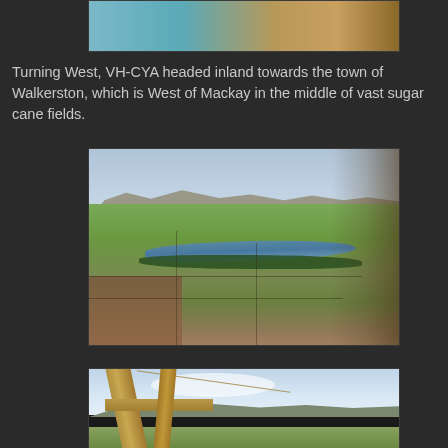[Figure (photo): Partial aerial photo at top of page, cropped, showing coastline or tropical scenery from an aircraft]
Turning West, VH-CYA headed inland towards the town of Walkerston, which is West of Mackay in the middle of vast sugar cane fields.
[Figure (photo): Aerial photograph looking west over vast sugar cane fields near Walkerston, west of Mackay, showing a river winding through green paddocks with mountains in the background]
[Figure (photo): Aerial photograph taken through the wooden struts of a biplane showing mountains and green landscape near Mackay, Queensland]